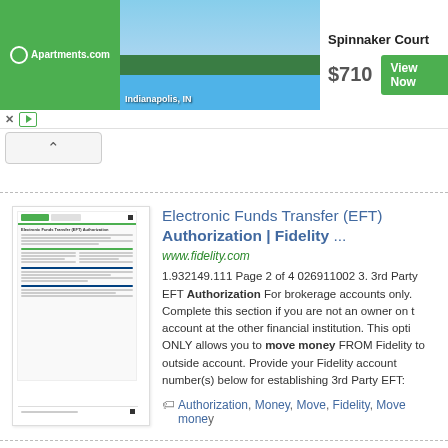[Figure (screenshot): Apartments.com advertisement banner featuring Spinnaker Court in Indianapolis, IN with a photo of a pool, price $710, and a green View Now button]
[Figure (screenshot): Thumbnail preview of Fidelity Electronic Funds Transfer (EFT) Authorization document form]
Electronic Funds Transfer (EFT) Authorization | Fidelity ...
www.fidelity.com
1.932149.111 Page 2 of 4 026911002 3. 3rd Party EFT Authorization For brokerage accounts only. Complete this section if you are not an owner on the account at the other financial institution. This option ONLY allows you to move money FROM Fidelity to outside account. Provide your Fidelity account number(s) below for establishing 3rd Party EFT:
Authorization, Money, Move, Fidelity, Move money